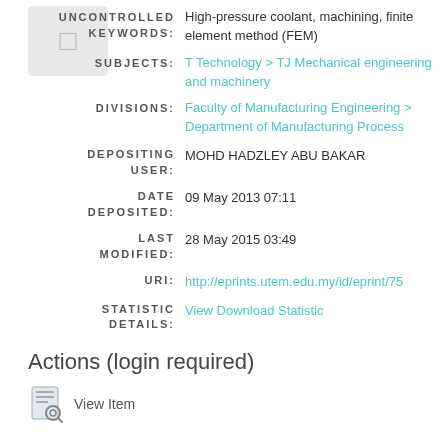UNCONTROLLED KEYWORDS: High-pressure coolant, machining, finite element method (FEM)
SUBJECTS: T Technology > TJ Mechanical engineering and machinery
DIVISIONS: Faculty of Manufacturing Engineering > Department of Manufacturing Process
DEPOSITING USER: MOHD HADZLEY ABU BAKAR
DATE DEPOSITED: 09 May 2013 07:11
LAST MODIFIED: 28 May 2015 03:49
URI: http://eprints.utem.edu.my/id/eprint/75
STATISTIC DETAILS: View Download Statistic
Actions (login required)
View Item